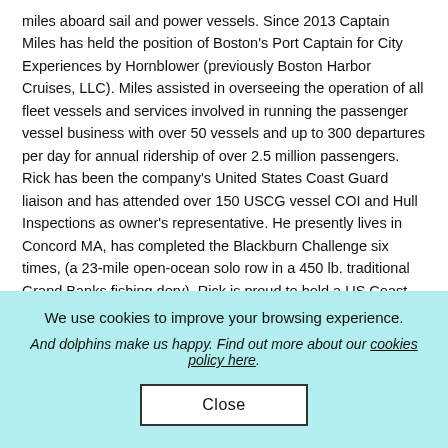miles aboard sail and power vessels. Since 2013 Captain Miles has held the position of Boston's Port Captain for City Experiences by Hornblower (previously Boston Harbor Cruises, LLC). Miles assisted in overseeing the operation of all fleet vessels and services involved in running the passenger vessel business with over 50 vessels and up to 300 departures per day for annual ridership of over 2.5 million passengers. Rick has been the company's United States Coast Guard liaison and has attended over 150 USCG vessel COI and Hull Inspections as owner's representative. He presently lives in Concord MA, has completed the Blackburn Challenge six times, (a 23-mile open-ocean solo row in a 450 lb. traditional Grand Banks fishing dory). Rick is proud to hold a US Coast Guard
We use cookies to improve your browsing experience.
And dolphins make us happy. Find out more about our cookies policy here.
Close